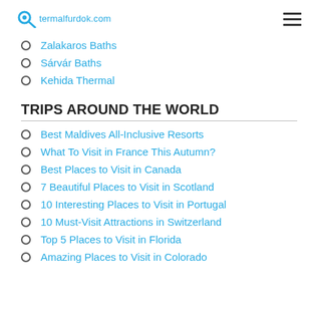termalfurdok.com
Zalakaros Baths
Sárvár Baths
Kehida Thermal
TRIPS AROUND THE WORLD
Best Maldives All-Inclusive Resorts
What To Visit in France This Autumn?
Best Places to Visit in Canada
7 Beautiful Places to Visit in Scotland
10 Interesting Places to Visit in Portugal
10 Must-Visit Attractions in Switzerland
Top 5 Places to Visit in Florida
Amazing Places to Visit in Colorado